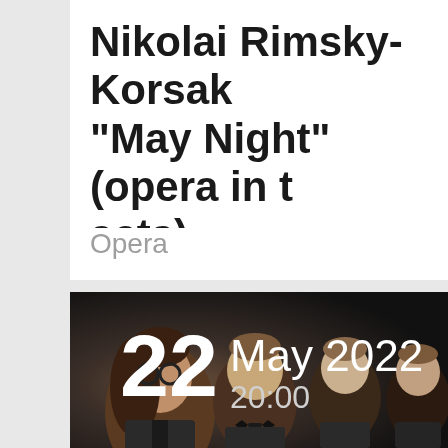Nikolai Rimsky-Korsakov "May Night" (opera in three acts)
Opera
[Figure (photo): Black and white photo of several men in formal attire (tuxedos with bow ties), shown from the shoulders up, facing slightly to the side. The image has a dark, dramatic background.]
22 May 2022 20:00